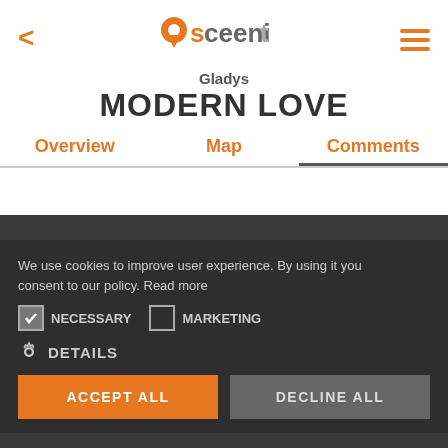[Figure (logo): Sceenit app logo with orange map pin icon and grey/orange text]
Gladys
MODERN LOVE
Overview   Map   Comments
We use cookies to improve user experience. By using it you consent to our policy. Read more
NECESSARY   MARKETING
DETAILS
ACCEPT ALL   DECLINE ALL